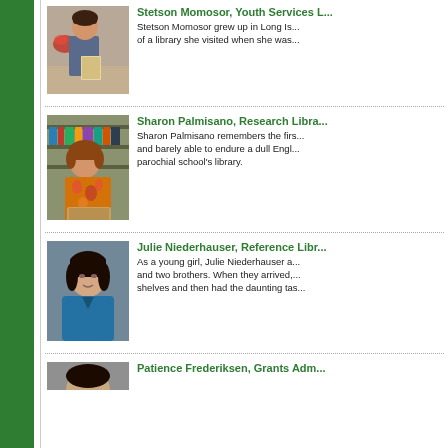[Figure (photo): Stetson Momosor holding a book, standing in front of a display]
Stetson Momosor, Youth Services L...
Stetson Momosor grew up in Long Is... of a library she visited when she was...
[Figure (photo): Sharon Palmisano sitting in front of bookshelves, wearing a floral shirt]
Sharon Palmisano, Research Libra...
Sharon Palmisano remembers the firs... and barely able to endure a dull Engl... parochial school's library.
[Figure (photo): Julie Niederhauser headshot, woman with dark hair wearing blue]
Julie Niederhauser, Reference Libr...
As a young girl, Julie Niederhauser a... and two brothers. When they arrived,... shelves and then had the daunting tas...
[Figure (photo): Patience Frederiksen headshot, partially visible]
Patience Frederiksen, Grants Adm...